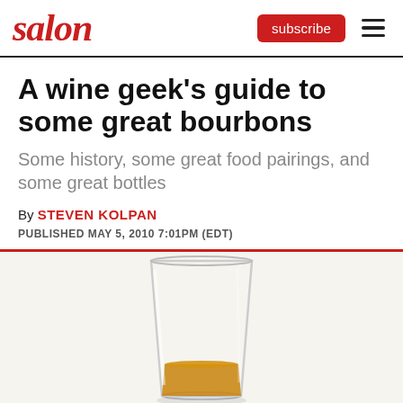salon
A wine geek's guide to some great bourbons
Some history, some great food pairings, and some great bottles
By STEVEN KOLPAN
PUBLISHED MAY 5, 2010 7:01PM (EDT)
[Figure (photo): A clear glass tumbler with amber bourbon whiskey at the bottom, on a white background]